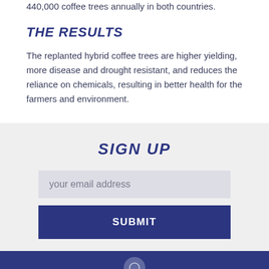440,000 coffee trees annually in both countries.
THE RESULTS
The replanted hybrid coffee trees are higher yielding, more disease and drought resistant, and reduces the reliance on chemicals, resulting in better health for the farmers and environment.
SIGN UP
your email address
SUBMIT